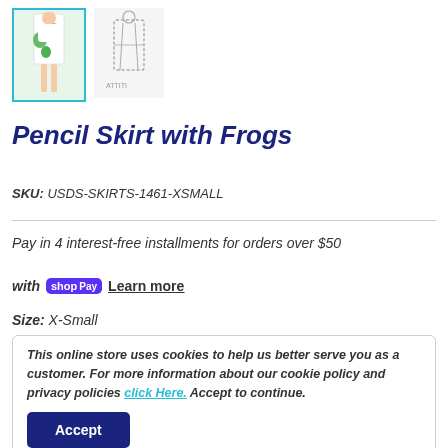[Figure (photo): Product thumbnail of pencil skirt with frog print, selected with teal border; second thumbnail shows a sketch/outline view]
Pencil Skirt with Frogs
SKU: USDS-SKIRTS-1461-XSMALL
Pay in 4 interest-free installments for orders over $50 with Shop Pay. Learn more
Size: X-Small
This online store uses cookies to help us better serve you as a customer. For more information about our cookie policy and privacy policies click Here. Accept to continue.
Accept
Price: $32.95